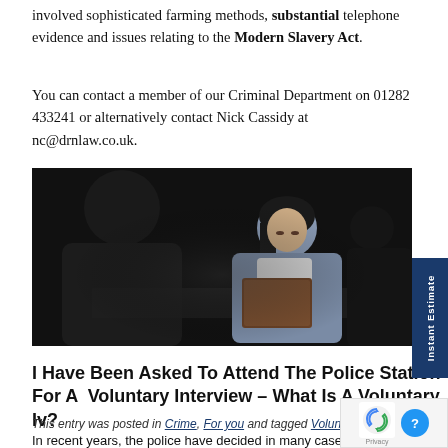involved sophisticated farming methods, substantial telephone evidence and issues relating to the Modern Slavery Act.
You can contact a member of our Criminal Department on 01282 433241 or alternatively contact Nick Cassidy at nc@drnlaw.co.uk.
[Figure (photo): A woman in a grey blazer holds a brown folder across a table from a man whose back is turned, in a dark interrogation-style setting.]
I Have Been Asked To Attend The Police Station For A Voluntary Interview – What Is A Voluntary Iv?
This entry was posted in Crime, For you and tagged Voluntary Interview on 8th October 2018 by Nick Cassidy.
In recent years, the police have decided in many cases to